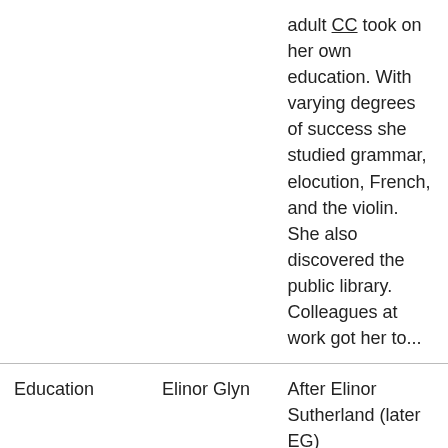|  |  | adult CC took on her own education. With varying degrees of success she studied grammar, elocution, French, and the violin. She also discovered the public library. Colleagues at work got her to... |
| Education | Elinor Glyn | After Elinor Sutherland (later EG) |